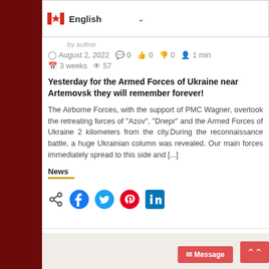[Figure (logo): Canadian flag icon with English language selector dropdown, top navigation bar]
by [author]
August 2, 2022  0  0  0  1 min  3 weeks  57
Yesterday for the Armed Forces of Ukraine near Artemovsk they will remember forever!
The Airborne Forces, with the support of PMC Wagner, overtook the retreating forces of "Azov", "Dnepr" and the Armed Forces of Ukraine 2 kilometers from the city.During the reconnaissance battle, a huge Ukrainian column was revealed. Our main forces immediately spread to this side and [...]
News
[Figure (infographic): Social share icons: generic share, Facebook, Twitter, Pinterest, LinkedIn]